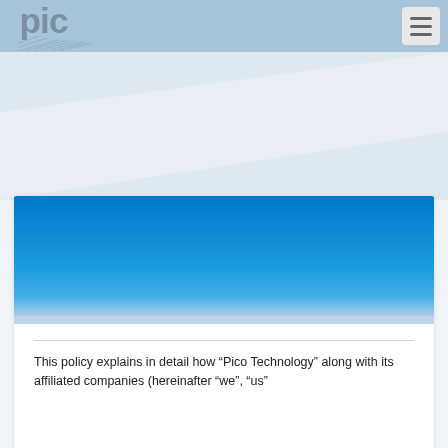[Figure (logo): Pico Technology logo - stylized 'pic' text in gray with diagonal line pattern beneath]
This policy explains in detail how “Pico Technology” along with its affiliated companies (hereinafter “we”, “us”